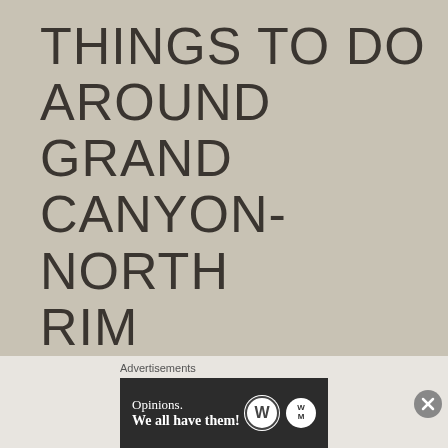THINGS TO DO AROUND GRAND CANYON- NORTH RIM
There are 3 places accessible for tourists to see the Grand Canyon. The West Rim, with its newly built skywalk, and the South Rim are more popular among tourists. People often forget that the North Rim is also an option; with 10
[Figure (screenshot): Advertisement banner with text 'Opinions. We all have them!' and WordPress and WM logos on dark background]